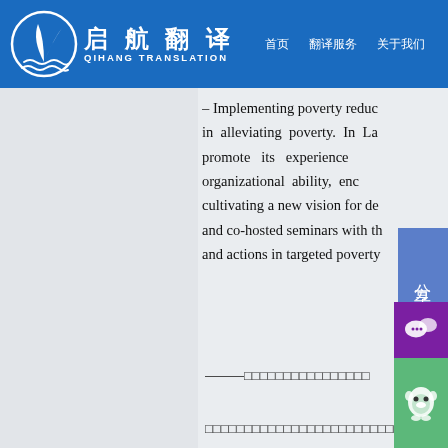启航翻译 QIHANG TRANSLATION | 首页 | 翻译服务 | 关于我们
– Implementing poverty redu... in alleviating poverty. In La... promote its experience ... organizational ability, enc... cultivating a new vision for de... and co-hosted seminars with th... and actions in targeted poverty...
———□□□□□□□□□□□□□□□
□□□□□□□□□□□□□□□□□□□□□□□□□□□□□□□□□□